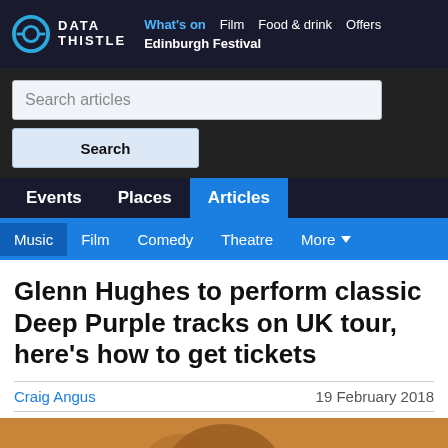DATA THISTLE | What's on  Film  Food & drink  Offers | Edinburgh Festival
Search articles
Search
Events  Places  Articles
Music  Film  Comedy  Theatre  More
Glenn Hughes to perform classic Deep Purple tracks on UK tour, here's how to get tickets
Craig Angus
19 February 2018
[Figure (photo): Partial photo at bottom of page, partially visible person]